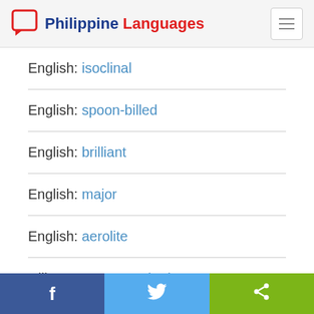Philippine Languages
English: isoclinal
English: spoon-billed
English: brilliant
English: major
English: aerolite
Hiligaynon: panungkad
Share buttons: Facebook, Twitter, Share